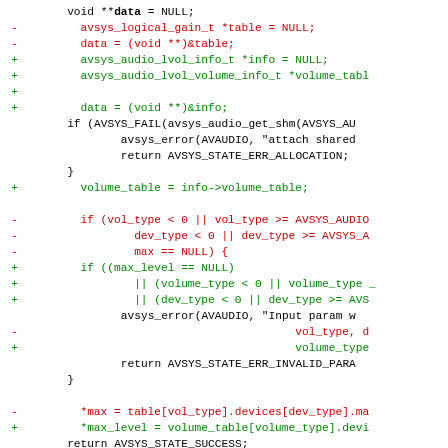[Figure (other): Code diff showing changes to a C source file. Removed lines (red, prefixed with -) and added lines (green, prefixed with +) showing replacement of avsys_logical_gain_t table with avsys_audio_lvol_info_t info and avsys_audio_lvol_volume_info_t volume_table, and related logic changes.]